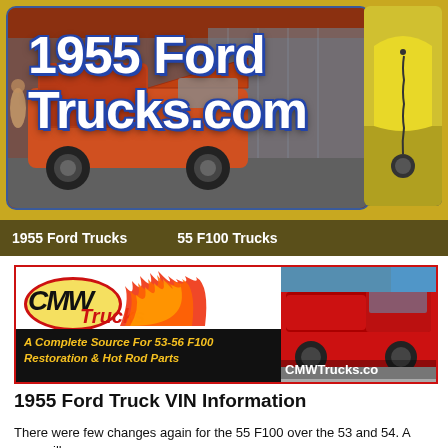[Figure (photo): Header banner with 1955 Ford Trucks website branding. Main image shows an orange/red customized 1955 Ford F100 truck with hood open at a show. Side image shows yellow vehicle detail. Text overlay reads '1955 Ford Trucks.com' in large white bold font.]
1955 Ford Trucks    55 F100 Trucks
[Figure (photo): CMW Trucks advertisement banner. Left side shows CMW Trucks logo with red oval, flame graphics, and tagline 'A Complete Source For 53-56 F100 Restoration & Hot Rod Parts' on black bar. Right side shows a red 1955 Ford F100 truck at a show with CMWTrucks.co watermark.]
1955 Ford Truck VIN Information
There were few changes again for the 55 F100 over the 53 and 54. A new grille